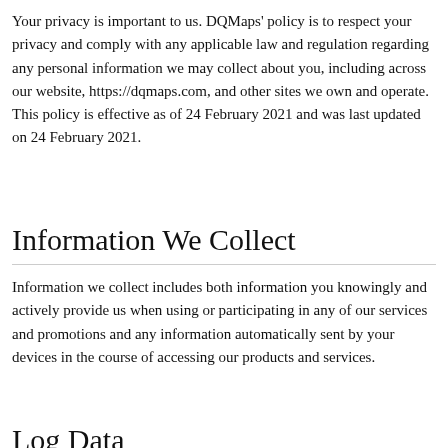Your privacy is important to us. DQMaps' policy is to respect your privacy and comply with any applicable law and regulation regarding any personal information we may collect about you, including across our website, https://dqmaps.com, and other sites we own and operate. This policy is effective as of 24 February 2021 and was last updated on 24 February 2021.
Information We Collect
Information we collect includes both information you knowingly and actively provide us when using or participating in any of our services and promotions and any information automatically sent by your devices in the course of accessing our products and services.
Log Data